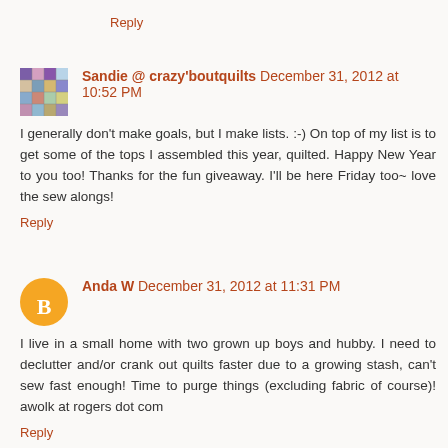Reply
Sandie @ crazy'boutquilts December 31, 2012 at 10:52 PM
I generally don't make goals, but I make lists. :-) On top of my list is to get some of the tops I assembled this year, quilted. Happy New Year to you too! Thanks for the fun giveaway. I'll be here Friday too~ love the sew alongs!
Reply
Anda W December 31, 2012 at 11:31 PM
I live in a small home with two grown up boys and hubby. I need to declutter and/or crank out quilts faster due to a growing stash, can't sew fast enough! Time to purge things (excluding fabric of course)! awolk at rogers dot com
Reply